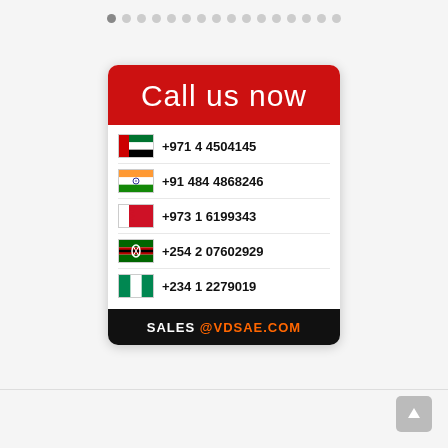[Figure (infographic): Contact card with 'Call us now' header in red, five phone numbers with country flags (UAE, India, Bahrain, Kenya, Nigeria), and an email address SALES@VDSAE.COM at the bottom on black background.]
Call us now
+971 4 4504145
+91 484 4868246
+973 1 6199343
+254 2 07602929
+234 1 2279019
SALES@VDSAE.COM